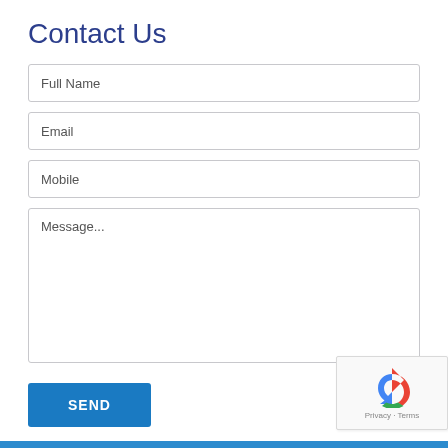Contact Us
[Figure (screenshot): Web contact form with fields for Full Name, Email, Mobile, and Message, a SEND button, and a reCAPTCHA widget in the lower right corner.]
Privacy · Terms